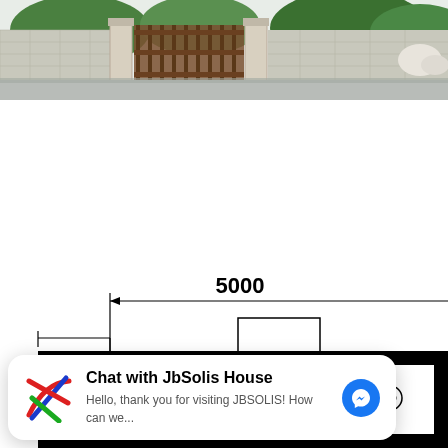[Figure (photo): Exterior architectural rendering of a house with decorative metal gate, stone fence posts, lush green plants/shrubs, and a road/driveway in the foreground.]
[Figure (engineering-diagram): Partial architectural floor plan showing rooms with dimension annotation '5000', thick black walls, door swings, and partial room labels including 'BATH'. Dimension lines with arrows visible.]
Chat with JbSolis House
Hello, thank you for visiting JBSOLIS! How can we...